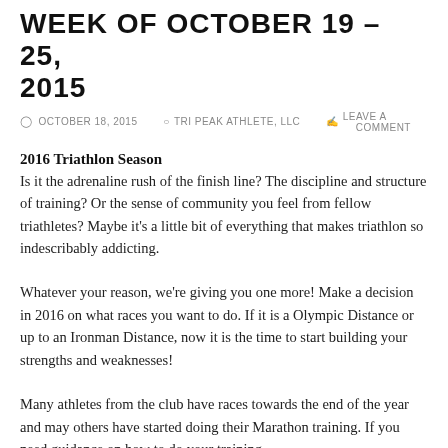WEEK OF OCTOBER 19 – 25, 2015
OCTOBER 18, 2015   TRI PEAK ATHLETE, LLC   LEAVE A COMMENT
2016 Triathlon Season
Is it the adrenaline rush of the finish line? The discipline and structure of training? Or the sense of community you feel from fellow triathletes? Maybe it's a little bit of everything that makes triathlon so indescribably addicting.
Whatever your reason, we're giving you one more! Make a decision in 2016 on what races you want to do. If it is a Olympic Distance or up to an Ironman Distance, now it is the time to start building your strengths and weaknesses!
Many athletes from the club have races towards the end of the year and may others have started doing their Marathon training. If you need guidance on how to do your training